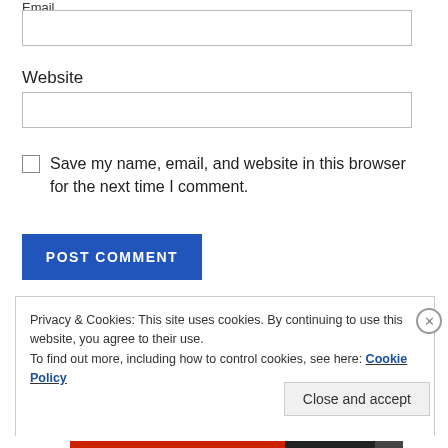Email
Website
Save my name, email, and website in this browser for the next time I comment.
POST COMMENT
Privacy & Cookies: This site uses cookies. By continuing to use this website, you agree to their use.
To find out more, including how to control cookies, see here: Cookie Policy
Close and accept